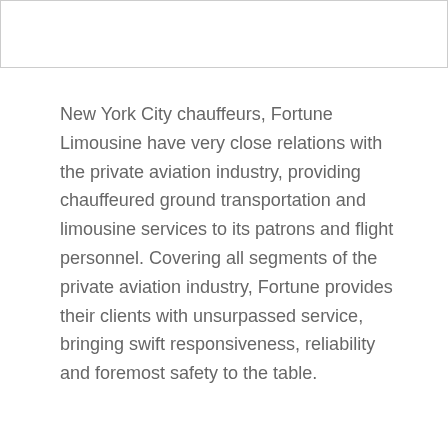[Figure (other): White header image area with border]
New York City chauffeurs, Fortune Limousine have very close relations with the private aviation industry, providing chauffeured ground transportation and limousine services to its patrons and flight personnel. Covering all segments of the private aviation industry, Fortune provides their clients with unsurpassed service, bringing swift responsiveness, reliability and foremost safety to the table.